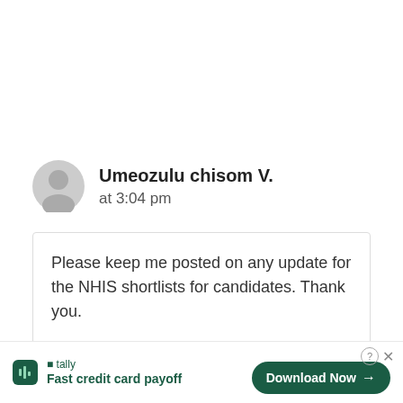Umeozulu chisom V.
at 3:04 pm
Please keep me posted on any update for the NHIS shortlists for candidates. Thank you.
Reply
[Figure (screenshot): Tally advertisement bar at bottom: Tally icon, 'Fast credit card payoff' tagline, Download Now button, question mark and close icons]